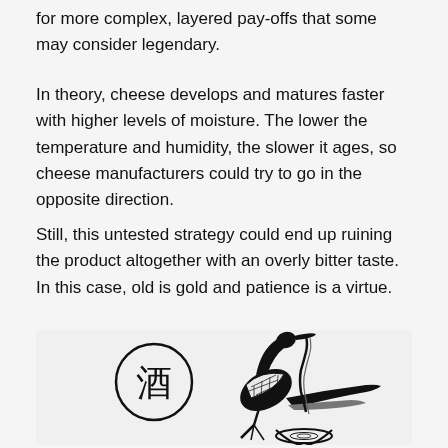for more complex, layered pay-offs that some may consider legendary.
In theory, cheese develops and matures faster with higher levels of moisture. The lower the temperature and humidity, the slower it ages, so cheese manufacturers could try to go in the opposite direction.
Still, this untested strategy could end up ruining the product altogether with an overly bitter taste. In this case, old is gold and patience is a virtue.
[Figure (illustration): Black and white illustration of a crane bird pouring liquid from a bottle into a bowl, with a circle containing the Chinese character 酒 (sake/alcohol) on the left.]